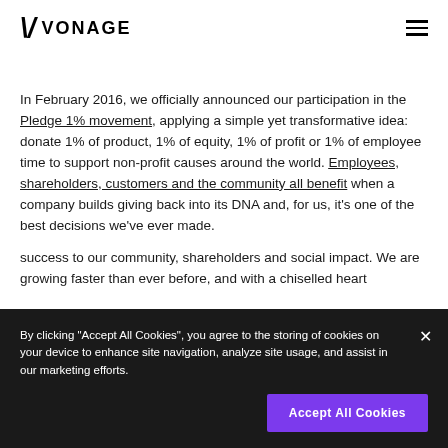VONAGE
In February 2016, we officially announced our participation in the Pledge 1% movement, applying a simple yet transformative idea: donate 1% of product, 1% of equity, 1% of profit or 1% of employee time to support non-profit causes around the world. Employees, shareholders, customers and the community all benefit when a company builds giving back into its DNA and, for us, it's one of the best decisions we've ever made.
By clicking "Accept All Cookies", you agree to the storing of cookies on your device to enhance site navigation, analyze site usage, and assist in our marketing efforts.
success to our community, shareholders and social impact. We are growing faster than ever before, and with a chiselled heart in the body of a company, we are committed to creating a thriving